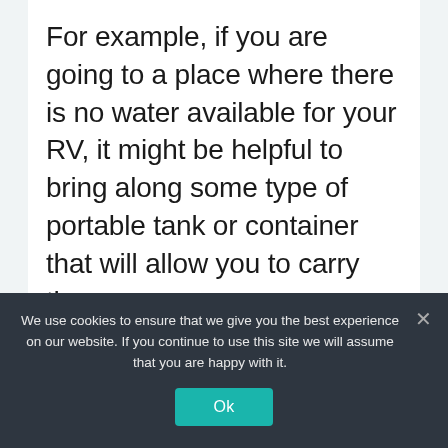For example, if you are going to a place where there is no water available for your RV, it might be helpful to bring along some type of portable tank or container that will allow you to carry the
We use cookies to ensure that we give you the best experience on our website. If you continue to use this site we will assume that you are happy with it.
Ok